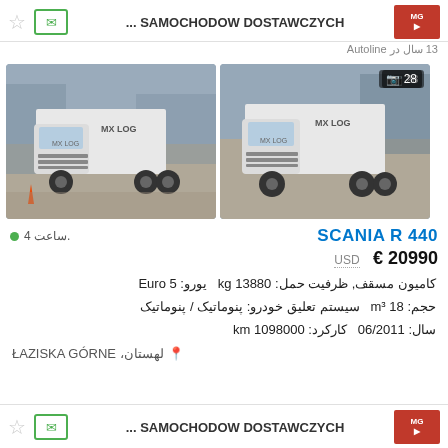... SAMOCHODOW DOSTAWCZYCH
13 سال در Autoline
[Figure (photo): White Scania R 440 truck with MX LOG branding, parked in a lot]
[Figure (photo): White Scania R 440 truck with MX LOG branding, parked in front of building, photo count badge showing 28]
SCANIA R 440
4 ساعت.
20990 € USD
کامیون مسقف, ظرفیت حمل: 13880 kg  یورو: Euro 5  حجم: 18 m³  سیستم تعلیق خودرو: پنوماتیک / پنوماتیک  سال: 06/2011  کارکرد: 1098000 km
لهستان، ŁAZISKA GÓRNE
... SAMOCHODOW DOSTAWCZYCH